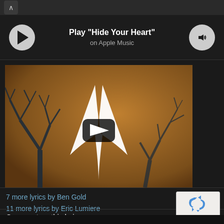[Figure (screenshot): Top navigation bar with chevron/up arrow button on dark background]
Play "Hide Your Heart" on Apple Music
[Figure (screenshot): YouTube video thumbnail showing Armada Music logo (white wings) over a fractal tree / wood texture background, with a play button overlay in the center]
7 more lyrics by Ben Gold
11 more lyrics by Eric Lumiere
[Figure (other): reCAPTCHA widget showing recycling-arrows logo with 'Privacy - Terms' text below on light grey background]
Comment on this lyric